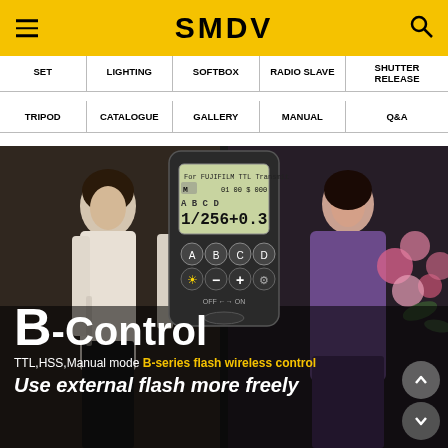SMDV
SET | LIGHTING | SOFTBOX | RADIO SLAVE | SHUTTER RELEASE | TRIPOD | CATALOGUE | GALLERY | MANUAL | Q&A
[Figure (photo): Hero banner showing SMDV B-Control TTL wireless flash transmitter device in center, woman in white outfit on left, woman in purple outfit with flowers on right. Text overlay: B-Control, TTL,HSS,Manual mode B-series flash wireless control, Use external flash more freely]
B-Control
TTL,HSS,Manual mode B-series flash wireless control
Use external flash more freely